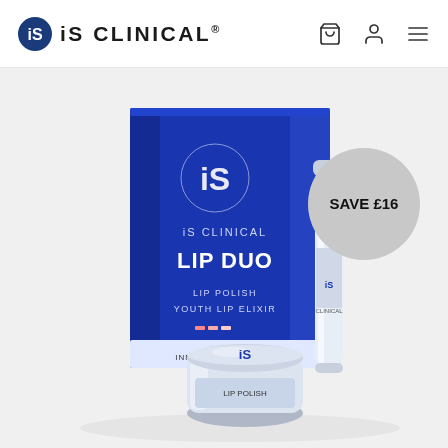iS CLINICAL
[Figure (photo): iS Clinical Lip Duo product set: blue box packaging labelled 'iS CLINICAL LIP DUO - LIP POLISH YOUTH LIP ELIXIR' alongside a white cylindrical tube and a white jar, displayed on a light grey background. A grey circular badge in the upper right reads 'SAVE £16'.]